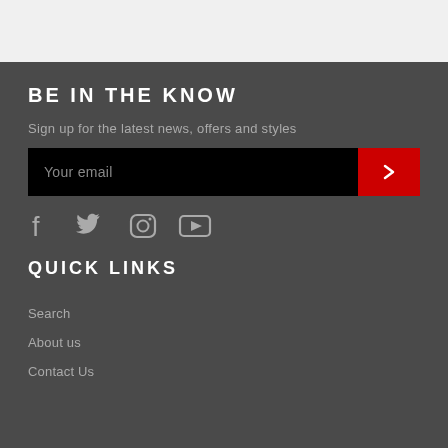BE IN THE KNOW
Sign up for the latest news, offers and styles
Your email
QUICK LINKS
Search
About us
Contact Us